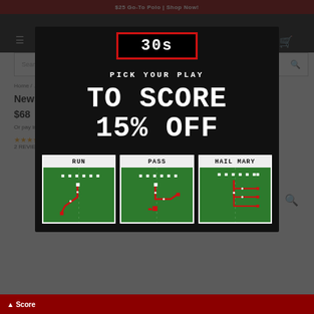$25 Go-To Polo | Shop Now!
[Figure (screenshot): HOMAGE website header with hamburger menu, HOMAGE logo in red, and shopping cart icon on dark background]
Search for your team
Home / ... / World Order Hoodie
New World Order Hoodie
$68
Or pay in 4 installments with Shop Pay
2 REVIEWS
[Figure (infographic): HOMAGE promotional modal overlay on product page. Shows a countdown timer displaying '30s' in a red-bordered box. Text reads 'PICK YOUR PLAY' then large pixel font 'TO SCORE 15% OFF'. Below are three play options: RUN, PASS, HAIL MARY each shown as football play diagrams with green field and pixel-art routes in red/white on dark-bordered cards.]
Score